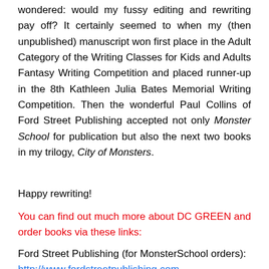wondered: would my fussy editing and rewriting pay off? It certainly seemed to when my (then unpublished) manuscript won first place in the Adult Category of the Writing Classes for Kids and Adults Fantasy Writing Competition and placed runner-up in the 8th Kathleen Julia Bates Memorial Writing Competition. Then the wonderful Paul Collins of Ford Street Publishing accepted not only Monster School for publication but also the next two books in my trilogy, City of Monsters.
Happy rewriting!
You can find out much more about DC GREEN and order books via these links:
Ford Street Publishing (for MonsterSchool orders): http://www.fordstreetpublishing.com